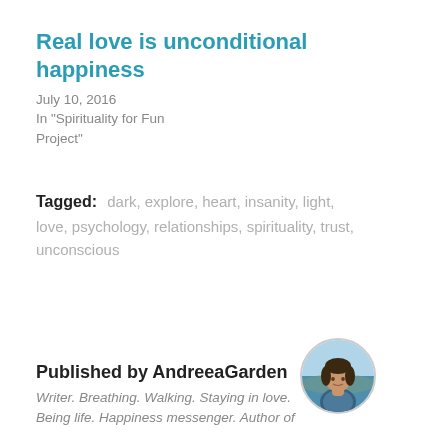Real love is unconditional happiness
July 10, 2016
In "Spirituality for Fun Project"
Tagged:  dark, explore, heart, insanity, light, love, psychology, relationships, spirituality, trust, unconscious
Published by AndreeaGarden
Writer. Breathing. Walking. Staying in love. Being life. Happiness messenger. Author of
[Figure (photo): Circular avatar photo of AndreeaGarden, a woman with dark hair outdoors near water]